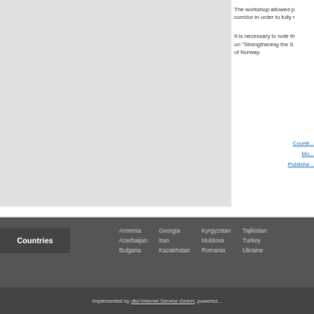The workshop allowed p... corridor in order to fully r...
It is necessary to note th... on "Strengthening the S... of Norway.
Countr...
Mo...
Publishe...
Countries
Armenia
Azerbaijan
Bulgaria
Georgia
Iran
Kazakhstan
Kyrgyzstan
Moldova
Romania
Tajikistan
Turkey
Ukraine
Implemented by dkd Internet Service GmbH, powered...